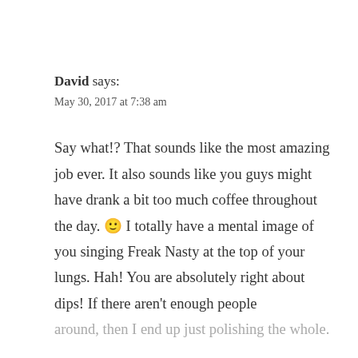David says:
May 30, 2017 at 7:38 am
Say what!? That sounds like the most amazing job ever. It also sounds like you guys might have drank a bit too much coffee throughout the day. 🙂 I totally have a mental image of you singing Freak Nasty at the top of your lungs. Hah! You are absolutely right about dips! If there aren't enough people around, then I end up just polishing the whole.